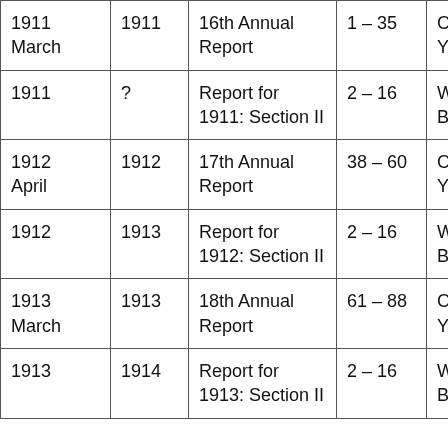| Date | Year Published | Title | Pages | Author/Publisher |
| --- | --- | --- | --- | --- |
| 1911 March | 1911 | 16th Annual Report | 1 – 35 | Coultas York |
| 1911 | ? | Report for 1911: Section II | 2 – 16 | W.E. To Bewdle |
| 1912 April | 1912 | 17th Annual Report | 38 – 60 | Coultas York |
| 1912 | 1913 | Report for 1912: Section II | 2 – 16 | W.E. To Bewdle |
| 1913 March | 1913 | 18th Annual Report | 61 – 88 | Coultas York |
| 1913 | 1914 | Report for 1913: Section II | 2 – 16 | W.E. To Bewdle |